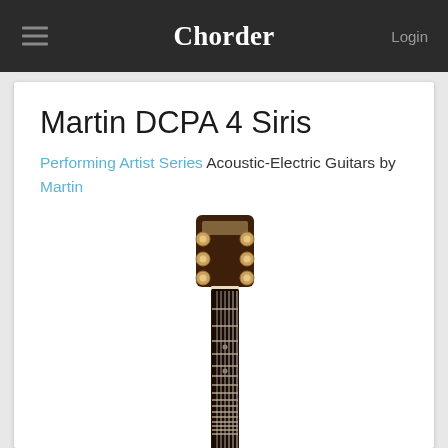Chorder  Login
Martin DCPA 4 Siris
Performing Artist Series Acoustic-Electric Guitars by Martin
[Figure (photo): Photo of a Martin DCPA 4 acoustic-electric guitar showing the headstock, tuning pegs, and fretboard/neck against a white background]